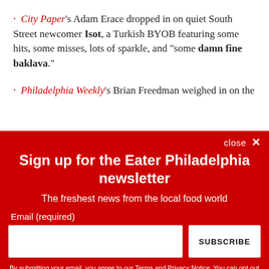· City Paper's Adam Erace dropped in on quiet South Street newcomer Isot, a Turkish BYOB featuring some hits, some misses, lots of sparkle, and "some damn fine baklava."
· Philadelphia Weekly's Brian Freedman weighed in on the
[Figure (screenshot): Newsletter signup modal overlay with red background. Title: 'Sign up for the Eater Philadelphia newsletter'. Subtitle: 'The freshest news from the local food world'. Email input field and SUBSCRIBE button. Privacy disclaimer text at bottom.]